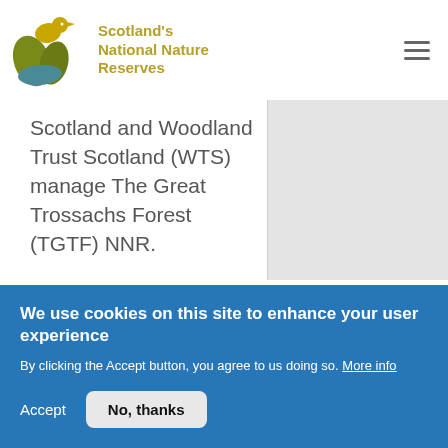[Figure (logo): Scotland's National Nature Reserves logo — stylized bird and plant leaves in olive/teal colors with gold site title text]
Scotland and Woodland Trust Scotland (WTS) manage The Great Trossachs Forest (TGTF) NNR.
We use cookies on this site to enhance your user experience
By clicking the Accept button, you agree to us doing so. More info
Accept
No, thanks